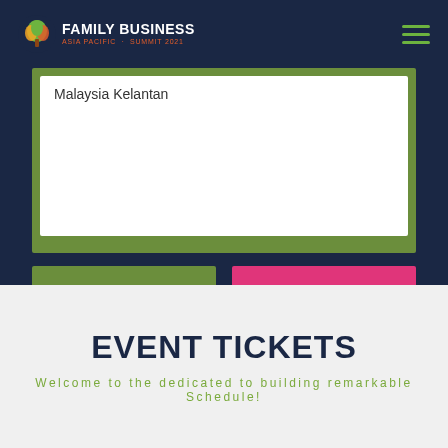FAMILY BUSINESS ASIA PACIFIC - SUMMIT 2021
Malaysia Kelantan
DOWNLOAD SCHEDULE (PDF)
CONNECT VIA FACEBOOK
EVENT TICKETS
Welcome to the dedicated to building remarkable Schedule!